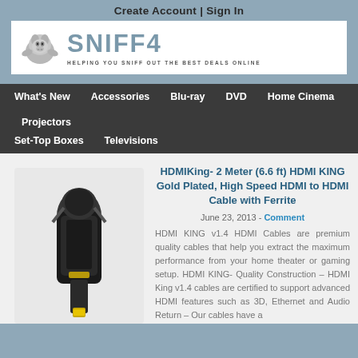Create Account | Sign In
[Figure (logo): Sniff4 website logo with bulldog illustration and tagline HELPING YOU SNIFF OUT THE BEST DEALS ONLINE]
What's New  Accessories  Blu-ray  DVD  Home Cinema  Projectors  Set-Top Boxes  Televisions
[Figure (photo): Photo of a black and gold HDMI cable connector on white background]
HDMIKing- 2 Meter (6.6 ft) HDMI KING Gold Plated, High Speed HDMI to HDMI Cable with Ferrite
June 23, 2013 - Comment
HDMI KING v1.4 HDMI Cables are premium quality cables that help you extract the maximum performance from your home theater or gaming setup. HDMI KING- Quality Construction – HDMI King v1.4 cables are certified to support advanced HDMI features such as 3D, Ethernet and Audio Return – Our cables have a